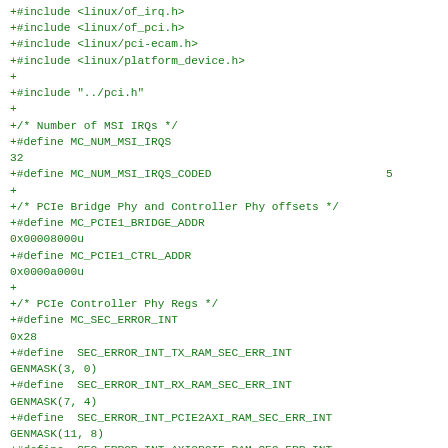+#include <linux/of_irq.h>
+#include <linux/of_pci.h>
+#include <linux/pci-ecam.h>
+#include <linux/platform_device.h>
+
+#include "../pci.h"
+
+/* Number of MSI IRQs */
+#define MC_NUM_MSI_IRQS
32
+#define MC_NUM_MSI_IRQS_CODED                          5
+
+/* PCIe Bridge Phy and Controller Phy offsets */
+#define MC_PCIE1_BRIDGE_ADDR
0x00008000u
+#define MC_PCIE1_CTRL_ADDR
0x0000a000u
+
+/* PCIe Controller Phy Regs */
+#define MC_SEC_ERROR_INT
0x28
+#define  SEC_ERROR_INT_TX_RAM_SEC_ERR_INT
GENMASK(3, 0)
+#define  SEC_ERROR_INT_RX_RAM_SEC_ERR_INT
GENMASK(7, 4)
+#define  SEC_ERROR_INT_PCIE2AXI_RAM_SEC_ERR_INT
GENMASK(11, 8)
+#define  SEC_ERROR_INT_AXI2PCIE_RAM_SEC_ERR_INT
GENMASK(15, 12)
+#define MC_SEC_ERROR_INT_MASK
0x2c